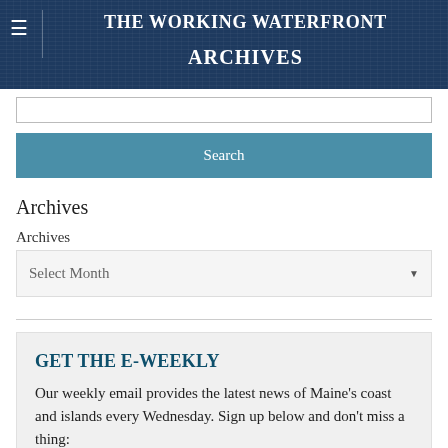THE WORKING WATERFRONT ARCHIVES
Search
Archives
Archives
Select Month
GET THE E-WEEKLY
Our weekly email provides the latest news of Maine's coast and islands every Wednesday. Sign up below and don't miss a thing: